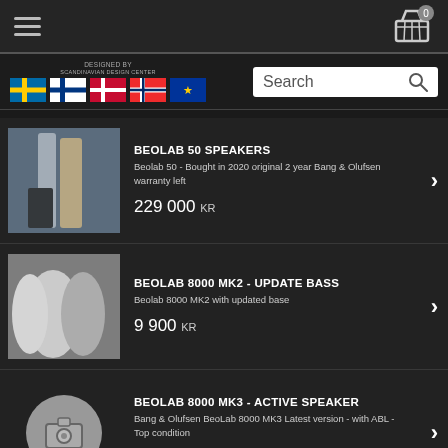[Figure (screenshot): Navigation bar with hamburger menu icon on left and shopping cart icon with badge '0' on right]
[Figure (screenshot): Header area with country flag icons (Sweden, Finland, Denmark, Norway, EU) on left, logo text in center, and search box on right]
[Figure (photo): Product photo of tall Beolab 50 speakers]
BEOLAB 50 SPEAKERS
Beolab 50 - Bought in 2020 original 2 year Bang & Olufsen warranty left
229 000 KR
[Figure (photo): Product photo of Beolab 8000 MK2 speakers]
BEOLAB 8000 MK2 - UPDATE BASS
Beolab 8000 MK2 with updated base
9 900 KR
[Figure (photo): Placeholder image icon for Beolab 8000 MK3]
BEOLAB 8000 MK3 - ACTIVE SPEAKER
Bang & Olufsen BeoLab 8000 MK3 Latest version - with ABL - Top condition
14 900 KR